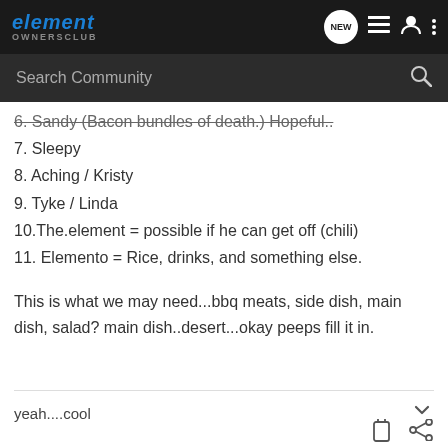element OWNERSCLUB — NEW — navigation icons
6. Sandy (Bacon bundles of death.) Hopeful..
7. Sleepy
8. Aching / Kristy
9. Tyke / Linda
10.The.element = possible if he can get off (chili)
11. Elemento = Rice, drinks, and something else.
This is what we may need...bbq meats, side dish, main dish, salad? main dish..desert...okay peeps fill it in.
yeah....cool